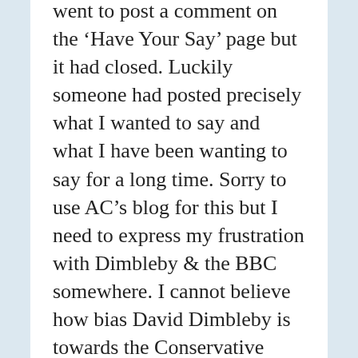went to post a comment on the 'Have Your Say' page but it had closed. Luckily someone had posted precisely what I wanted to say and what I have been wanting to say for a long time. Sorry to use AC's blog for this but I need to express my frustration with Dimbleby & the BBC somewhere. I cannot believe how bias David Dimbleby is towards the Conservative party. What a complete let down. It makes me completely sick to see David Dimbleby ought